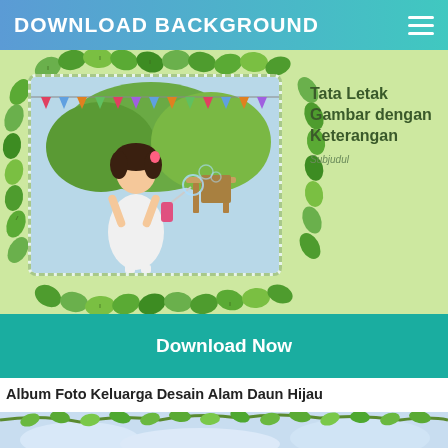DOWNLOAD BACKGROUND
[Figure (photo): Green leaf-decorated photo album template card showing a young girl blowing bubbles, with title 'Tata Letak Gambar dengan Keterangan' and subtitle 'Subjudul' on light green background]
[Figure (other): Download Now button (teal/green background)]
Album Foto Keluarga Desain Alam Daun Hijau
[Figure (photo): Green tree branches with leaves against a light blue sky background]